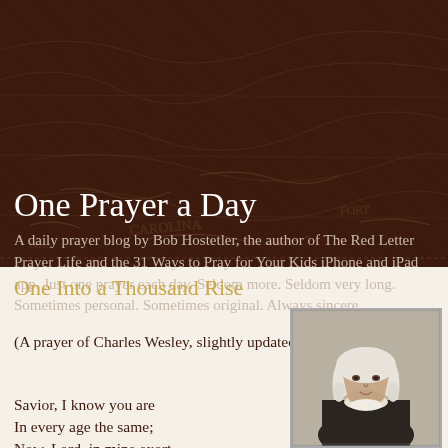One Prayer a Day
A daily prayer blog by Bob Hostetler, the author of The Red Letter Prayer Life and the 31 Ways to Pray for Your Kids iPhone and iPad app. Just one prayer each day. Seldom more. Seldom very long. Sometimes personal. Sometimes original. Always sincere.
One Into a Thousand Rise
(A prayer of Charles Wesley, slightly updated)
[Figure (photo): Portrait of Charles Wesley, historical engraving showing a man in 18th century clerical dress with white wig]
Savior, I know you are
In every age the same;
Now, Lord, in mine exort